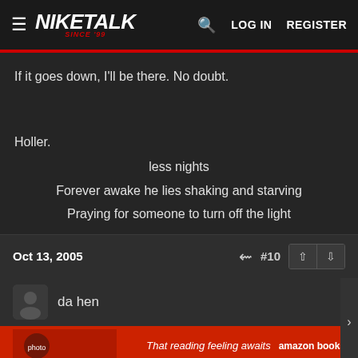NIKETALK SINCE '99 — LOG IN   REGISTER
If it goes down, I'll be there. No doubt.
Holler.
less nights
Forever awake he lies shaking and starving
Praying for someone to turn off the light
Oct 13, 2005  #10
da hen